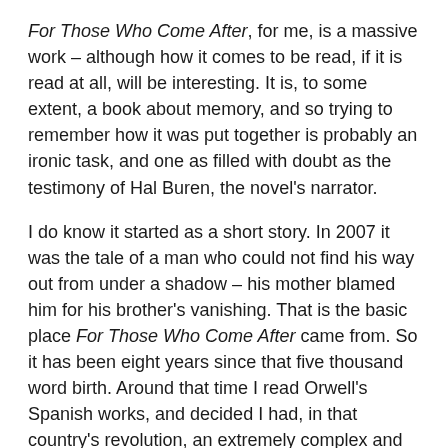For Those Who Come After, for me, is a massive work – although how it comes to be read, if it is read at all, will be interesting. It is, to some extent, a book about memory, and so trying to remember how it was put together is probably an ironic task, and one as filled with doubt as the testimony of Hal Buren, the novel's narrator.
I do know it started as a short story. In 2007 it was the tale of a man who could not find his way out from under a shadow – his mother blamed him for his brother's vanishing. That is the basic place For Those Who Come After came from. So it has been eight years since that five thousand word birth. Around that time I read Orwell's Spanish works, and decided I had, in that country's revolution, an extremely complex and largely misunderstood historical backdrop. A place where everything – something – would come to a head. The Spanish Civil War is the apex of the novel, just as it was the apex of the early part of the twentieth century – the microcosmic experiment for a new form of barbarity. The